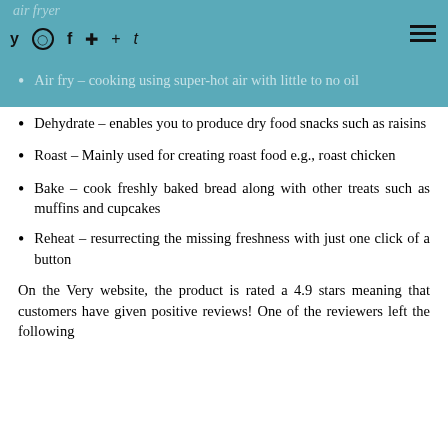air fryer | social icons: y, instagram, f, pinterest, +, t | hamburger menu
Air fry – cooking using super-hot air with little to no oil
Dehydrate – enables you to produce dry food snacks such as raisins
Roast – Mainly used for creating roast food e.g., roast chicken
Bake – cook freshly baked bread along with other treats such as muffins and cupcakes
Reheat – resurrecting the missing freshness with just one click of a button
On the Very website, the product is rated a 4.9 stars meaning that customers have given positive reviews! One of the reviewers left the following